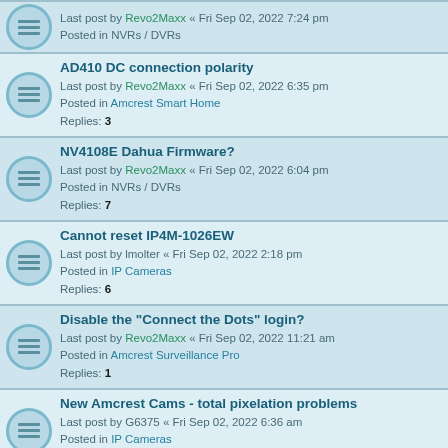Last post by Revo2Maxx « Fri Sep 02, 2022 7:24 pm
Posted in NVRs / DVRs
AD410 DC connection polarity
Last post by Revo2Maxx « Fri Sep 02, 2022 6:35 pm
Posted in Amcrest Smart Home
Replies: 3
NV4108E Dahua Firmware?
Last post by Revo2Maxx « Fri Sep 02, 2022 6:04 pm
Posted in NVRs / DVRs
Replies: 7
Cannot reset IP4M-1026EW
Last post by lmolter « Fri Sep 02, 2022 2:18 pm
Posted in IP Cameras
Replies: 6
Disable the "Connect the Dots" login?
Last post by Revo2Maxx « Fri Sep 02, 2022 11:21 am
Posted in Amcrest Surveillance Pro
Replies: 1
New Amcrest Cams - total pixelation problems
Last post by G6375 « Fri Sep 02, 2022 6:36 am
Posted in IP Cameras
Replies: 3
ASH22-W (ASH43-W) ONVIF and RSP
Last post by vodoo « Fri Sep 02, 2022 12:22 am
Posted in IP Cameras
AD410: ChimeKit still included/required?
Last post by Revo2Maxx « Thu Sep 01, 2022 4:39 pm
Posted in Amcrest Smart Home
Replies: 6